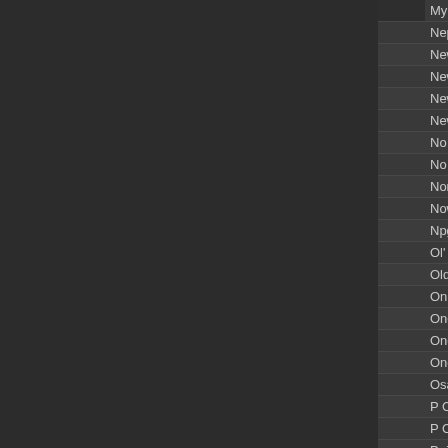| Artist |  | Song |
| --- | --- | --- |
| Prince |  | My Name Is Prince |
| Prince |  | Neptunes Radio E... |
| Prince |  | New Position |
| Prince |  | New Power Gener... |
| Prince |  | New Power Soul |
| Prince |  | New World |
| Prince |  | No |
| Prince |  | No More Candy 4... |
| Prince |  | Northside |
| Prince |  | Now |
| Prince |  | Npg (Funky Weap... |
| Prince |  | Ol' Skool Compar... |
| Prince |  | Old Friends 4 Sale |
| Prince |  | On The Couch |
| Prince |  | One Kiss At A Tim... |
| Prince |  | One Of Us |
| Prince |  | One Of Your Tears |
| Prince |  | Osaka Soundchec... |
| Prince |  | P Control |
| Prince |  | P Control (Remix) |
| Prince |  | Paisley Park (B Si... |